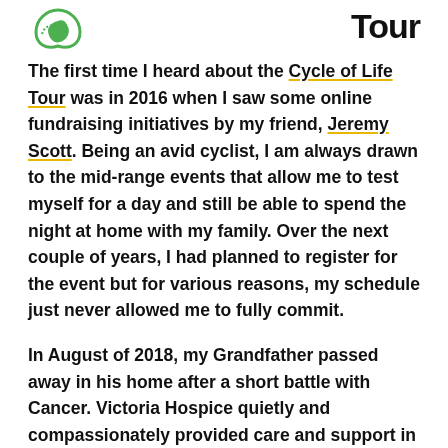[Logo left: green leaf/cycle icon] [Logo right: Tour]
The first time I heard about the Cycle of Life Tour was in 2016 when I saw some online fundraising initiatives by my friend, Jeremy Scott. Being an avid cyclist, I am always drawn to the mid-range events that allow me to test myself for a day and still be able to spend the night at home with my family. Over the next couple of years, I had planned to register for the event but for various reasons, my schedule just never allowed me to fully commit.
In August of 2018, my Grandfather passed away in his home after a short battle with Cancer. Victoria Hospice quietly and compassionately provided care and support in all of the areas that my family needed it during my Grandfather's final days. After witnessing